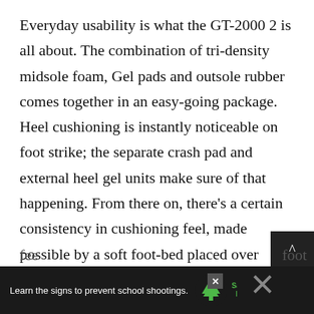Everyday usability is what the GT-2000 2 is all about. The combination of tri-density midsole foam, Gel pads and outsole rubber comes together in an easy-going package. Heel cushioning is instantly noticeable on foot strike; the separate crash pad and external heel gel units make sure of that happening. From there on, there's a certain consistency in cushioning feel, made possible by a soft foot-bed placed over another few millimeters of EVA strobeling. The tech specs for GT 2000 points out that there's a forefoot gel pad, but its existence is hardly felt. It must be a really thin layer of Gel, so forefoot loading is devoid of any heightened cushioning
[Figure (other): Advertisement banner at the bottom of the page: dark background with text 'Learn the signs to prevent school shootings.' alongside Sandy Hook Promise logo (tree icon in green). Has a close (X) button and partially visible content on right side.]